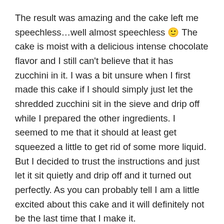The result was amazing and the cake left me speechless…well almost speechless 🙂 The cake is moist with a delicious intense chocolate flavor and I still can't believe that it has zucchini in it. I was a bit unsure when I first made this cake if I should simply just let the shredded zucchini sit in the sieve and drip off while I prepared the other ingredients. I seemed to me that it should at least get squeezed a little to get rid of some more liquid. But I decided to trust the instructions and just let it sit quietly and drip off and it turned out perfectly. As you can probably tell I am a little excited about this cake and it will definitely not be the last time that I make it.
Double Chocolate Zucchini Cake (makes 1 loaf)
Ingredients: